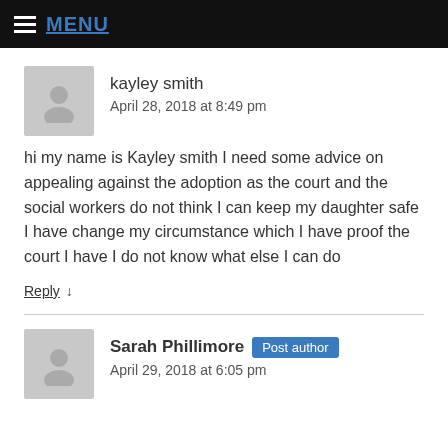MENU
kayley smith
April 28, 2018 at 8:49 pm
hi my name is Kayley smith I need some advice on appealing against the adoption as the court and the social workers do not think I can keep my daughter safe I have change my circumstance which I have proof the court I have I do not know what else I can do
Reply ↓
Sarah Phillimore  Post author
April 29, 2018 at 6:05 pm